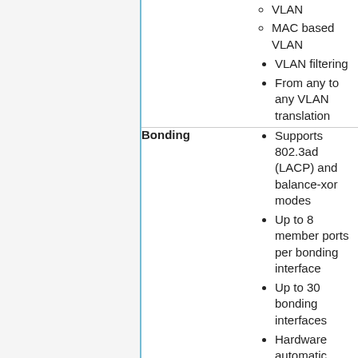| Feature | Details |
| --- | --- |
| (continuation) | VLAN
MAC based VLAN
VLAN filtering
From any to any VLAN translation |
| Bonding | Supports 802.3ad (LACP) and balance-xor modes
Up to 8 member ports per bonding interface
Up to 30 bonding interfaces
Hardware automatic failover and load balancing |
| Quality of Service (QoS) | Ingress traffic limiting
Port based
MAC based |